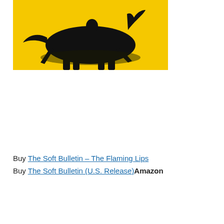[Figure (illustration): Album cover image for The Soft Bulletin by The Flaming Lips. A yellow background with black silhouettes of a person riding a horse and another figure. High-contrast halftone-style graphic.]
Buy The Soft Bulletin – The Flaming Lips
Buy The Soft Bulletin (U.S. Release) Amazon